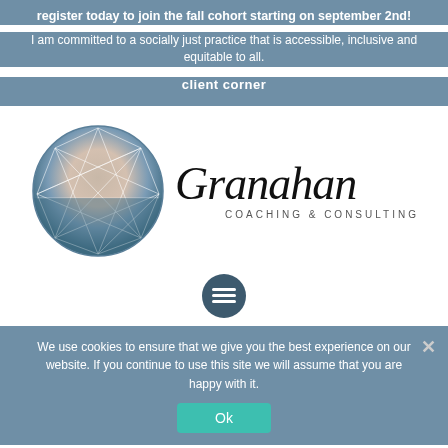register today to join the fall cohort starting on september 2nd!
I am committed to a socially just practice that is accessible, inclusive and equitable to all.
client corner
[Figure (logo): Granahan Coaching & Consulting logo: a circular gradient sphere with enneagram geometric lines, next to the cursive text 'Granahan' above 'COACHING & CONSULTING']
[Figure (other): Circular dark teal hamburger menu button icon]
We use cookies to ensure that we give you the best experience on our website. If you continue to use this site we will assume that you are happy with it.